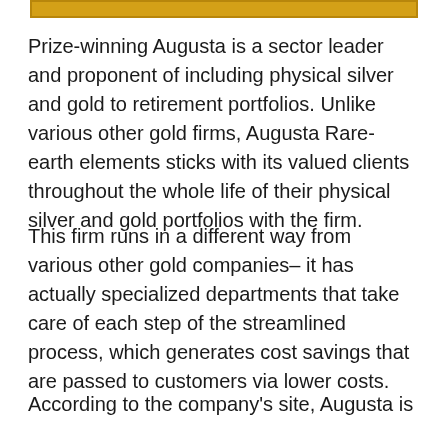[Figure (other): Gold colored horizontal bar/banner at top of page]
Prize-winning Augusta is a sector leader and proponent of including physical silver and gold to retirement portfolios. Unlike various other gold firms, Augusta Rare-earth elements sticks with its valued clients throughout the whole life of their physical silver and gold portfolios with the firm.
This firm runs in a different way from various other gold companies– it has actually specialized departments that take care of each step of the streamlined process, which generates cost savings that are passed to customers via lower costs.
According to the company's site, Augusta is